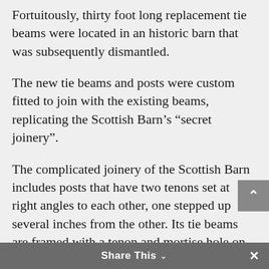Fortuitously, thirty foot long replacement tie beams were located in an historic barn that was subsequently dismantled.
The new tie beams and posts were custom fitted to join with the existing beams, replicating the Scottish Barn's “secret joinery”.
The complicated joinery of the Scottish Barn includes posts that have two tenons set at right angles to each other, one stepped up several inches from the other. Its tie beams are framed with a tenon and mortise hole on each end. The tenon fits into the plate beam, and the mortise hole receives a tenon from a post. The Scottish Barn’s plate beams have two mortise holes at each joint, one for a post’s tenon and the other for the tenon of a tie
Share This ∨ ×